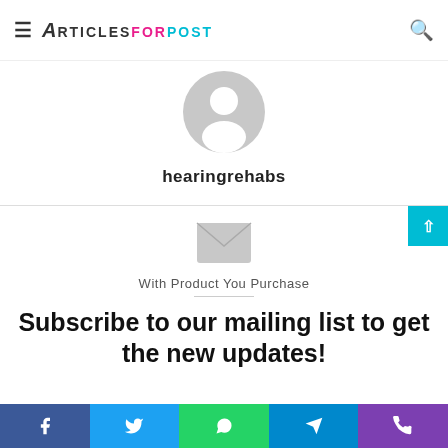ArticlesForPost
[Figure (illustration): Generic user avatar: grey circle with white silhouette of a person (head and shoulders)]
hearingrehabs
[Figure (illustration): Grey envelope icon]
With Product You Purchase
Subscribe to our mailing list to get the new updates!
[Figure (illustration): Social sharing bar with Facebook, Twitter, WhatsApp, Telegram, and Phone icons]